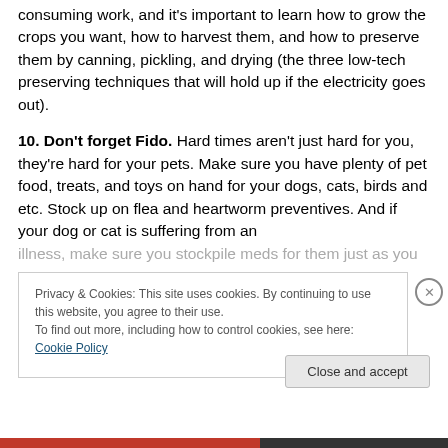consuming work, and it's important to learn how to grow the crops you want, how to harvest them, and how to preserve them by canning, pickling, and drying (the three low-tech preserving techniques that will hold up if the electricity goes out).
10. Don't forget Fido. Hard times aren't just hard for you, they're hard for your pets. Make sure you have plenty of pet food, treats, and toys on hand for your dogs, cats, birds and etc. Stock up on flea and heartworm preventives. And if your dog or cat is suffering from an illness, make sure you stockpile meds for them just as you
Privacy & Cookies: This site uses cookies. By continuing to use this website, you agree to their use.
To find out more, including how to control cookies, see here: Cookie Policy
Close and accept